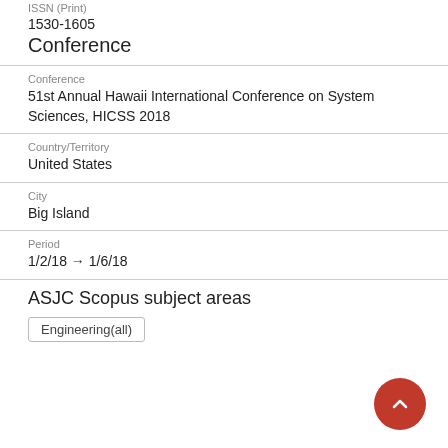ISSN (Print)
1530-1605
Conference
Conference
51st Annual Hawaii International Conference on System Sciences, HICSS 2018
Country/Territory
United States
City
Big Island
Period
1/2/18 → 1/6/18
ASJC Scopus subject areas
Engineering(all)